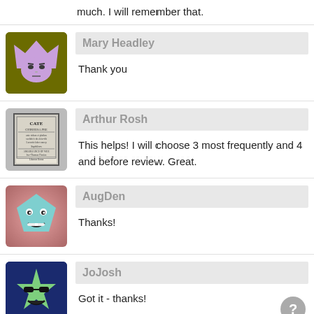much. I will remember that.
[Figure (illustration): Avatar for Mary Headley: cartoon crown/queen face on olive background]
Mary Headley
Thank you
[Figure (illustration): Avatar for Arthur Rosh: old book cover image]
Arthur Rosh
This helps! I will choose 3 most frequently and 4 and before review. Great.
[Figure (illustration): Avatar for AugDen: cartoon pentagon face on pink/rose background]
AugDen
Thanks!
[Figure (illustration): Avatar for JoJosh: cartoon star face with sunglasses on dark blue background]
JoJosh
Got it - thanks!